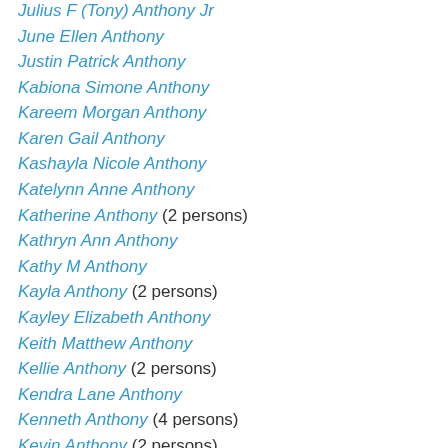Julius F (Tony) Anthony Jr
June Ellen Anthony
Justin Patrick Anthony
Kabiona Simone Anthony
Kareem Morgan Anthony
Karen Gail Anthony
Kashayla Nicole Anthony
Katelynn Anne Anthony
Katherine Anthony (2 persons)
Kathryn Ann Anthony
Kathy M Anthony
Kayla Anthony (2 persons)
Kayley Elizabeth Anthony
Keith Matthew Anthony
Kellie Anthony (2 persons)
Kendra Lane Anthony
Kenneth Anthony (4 persons)
Kevin Anthony (2 persons)